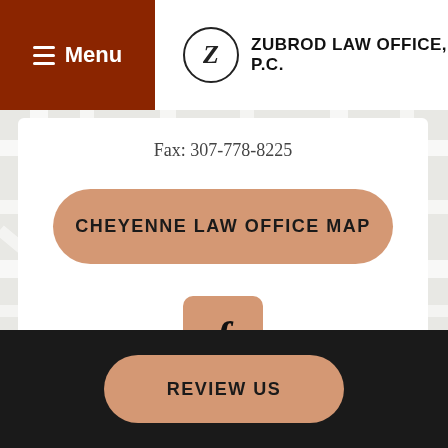Menu | ZUBROD LAW OFFICE, P.C.
Fax: 307-778-8225
CHEYENNE LAW OFFICE MAP
[Figure (illustration): Facebook logo button (letter f on tan/brown rounded square background)]
[Figure (map): Street map background showing Lincolnway and surrounding streets in Cheyenne, WY]
REVIEW US